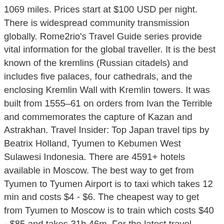1069 miles. Prices start at $100 USD per night. There is widespread community transmission globally. Rome2rio's Travel Guide series provide vital information for the global traveller. It is the best known of the kremlins (Russian citadels) and includes five palaces, four cathedrals, and the enclosing Kremlin Wall with Kremlin towers. It was built from 1555–61 on orders from Ivan the Terrible and commemorates the capture of Kazan and Astrakhan. Travel Insider: Top Japan travel tips by Beatrix Holland, Tyumen to Kebumen West Sulawesi Indonesia. There are 4591+ hotels available in Moscow. The best way to get from Tyumen to Tyumen Airport is to taxi which takes 12 min and costs $4 - $6. The cheapest way to get from Tyumen to Moscow is to train which costs $40 - $85 and takes 31h 46m. For the latest travel status, please check the official page for Russia. It separates the Kremlin, the former royal citadel and currently the official residence of the President of Russia, from a historic merchant quarter known as Kitai-gorod. Moscow is the capital and most populous city of Russia. Alternatively, Russian Railways (РЖД) operates a train from Tiumen to Moskva Yaroslavskaya every 4 hours. Rome2rio